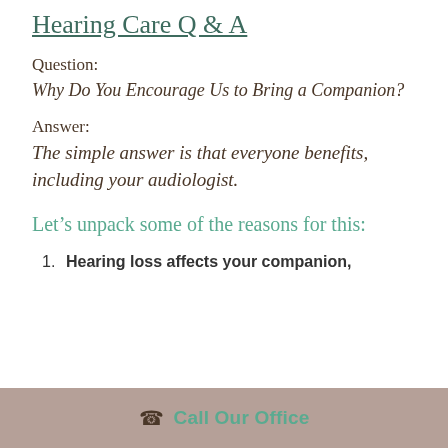Hearing Care Q & A
Question:
Why Do You Encourage Us to Bring a Companion?
Answer:
The simple answer is that everyone benefits, including your audiologist.
Let’s unpack some of the reasons for this:
Hearing loss affects your companion,
Call Our Office